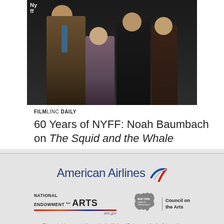[Figure (photo): Group photo of several people at a NYFF event, standing against a dark backdrop with NYFF branding visible in the upper left corner.]
FILMLINC DAILY
60 Years of NYFF: Noah Baumbach on The Squid and the Whale
[Figure (logo): American Airlines logo with stylized bird/arrow symbol in red, white, and blue]
[Figure (logo): National Endowment for the Arts logo with arts.gov URL]
[Figure (logo): New York State Council on the Arts logo with New York state silhouette]
This project is supported in part by the National Endowment for the Arts, and is made possible by the New York State Council on the Arts with the support of Governor Andrew M. Cuomo and the New York State Legislature.